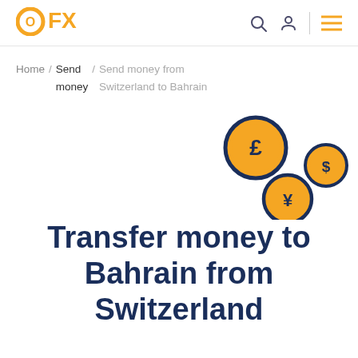OFX
Home / Send money / Send money from Switzerland to Bahrain
[Figure (illustration): Three currency coins with symbols: pound (£), dollar ($), and yen (¥), arranged decoratively on the right side of the page]
Transfer money to Bahrain from Switzerland